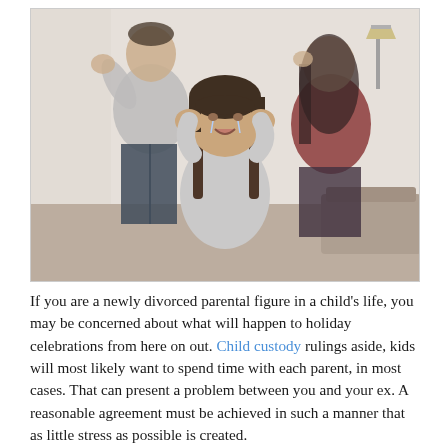[Figure (photo): A young girl crying with hands pressed to her ears, while two adults (parents) argue in the blurred background in a living room setting.]
If you are a newly divorced parental figure in a child's life, you may be concerned about what will happen to holiday celebrations from here on out. Child custody rulings aside, kids will most likely want to spend time with each parent, in most cases. That can present a problem between you and your ex. A reasonable agreement must be achieved in such a manner that as little stress as possible is created.